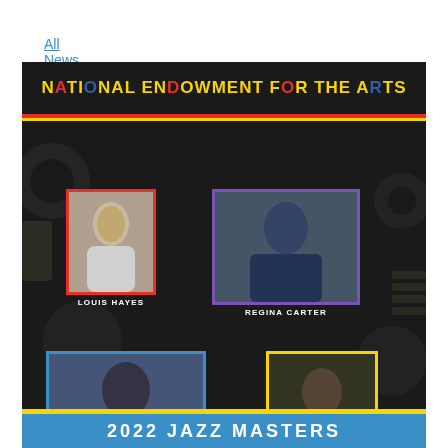All News
[Figure (photo): National Endowment for the Arts 2022 Jazz Masters promotional poster featuring photos of Louis Hayes, Regina Carter, Kenny Garrett, and Sue Mingus on a dark abstract background with colorful borders around each photo. Bottom text reads '2022 Jazz Masters'.]